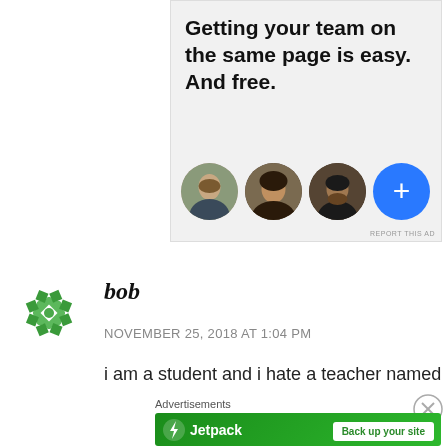[Figure (screenshot): Advertisement banner with text 'Getting your team on the same page is easy. And free.' and three profile photo circles plus a blue plus button circle]
REPORT THIS AD
[Figure (illustration): Green snowflake/mandala pattern avatar icon for user 'bob']
bob
NOVEMBER 25, 2018 AT 1:04 PM
i am a student and i hate a teacher named
Advertisements
[Figure (screenshot): Jetpack advertisement banner in green with logo and 'Back up your site' button]
REPORT THIS AD